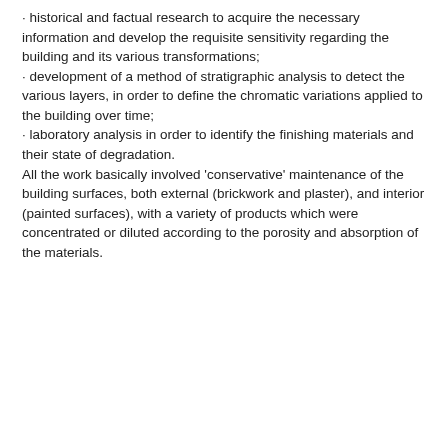· historical and factual research to acquire the necessary information and develop the requisite sensitivity regarding the building and its various transformations;
· development of a method of stratigraphic analysis to detect the various layers, in order to define the chromatic variations applied to the building over time;
· laboratory analysis in order to identify the finishing materials and their state of degradation.
All the work basically involved 'conservative' maintenance of the building surfaces, both external (brickwork and plaster), and interior (painted surfaces), with a variety of products which were concentrated or diluted according to the porosity and absorption of the materials.